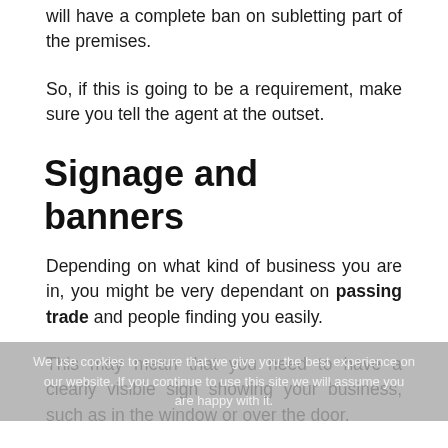will have a complete ban on subletting part of the premises.
So, if this is going to be a requirement, make sure you tell the agent at the outset.
Signage and banners
Depending on what kind of business you are in, you might be very dependant on passing trade and people finding you easily.
This may mean that you need to have a clearly visible sign showing your business, such as in the window or over the door.
We use cookies to ensure that we give you the best experience on our website. If you continue to use this site we will assume you are happy with it.
Make sure that the lease allows you to put your signage up and that there aren't going to be any restriction on what you can say or where you can say it. This is particularly important with new developments, where you won't be able